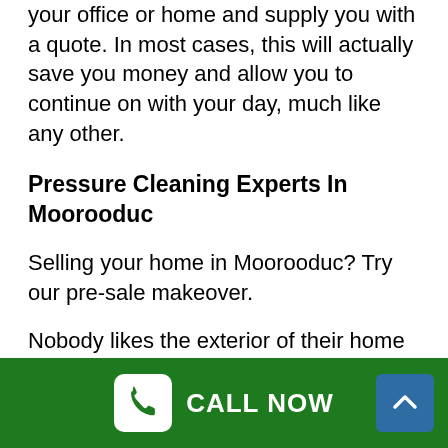your office or home and supply you with a quote. In most cases, this will actually save you money and allow you to continue on with your day, much like any other.
Pressure Cleaning Experts In Moorooduc
Selling your home in Moorooduc? Try our pre-sale makeover.
Nobody likes the exterior of their home to be unclean, neither do we. If you’re sporadically cleaning up the outside of your home, possibilities are you’ve got a lot of dirt buildup that can end up being tough to get off.
CALL NOW